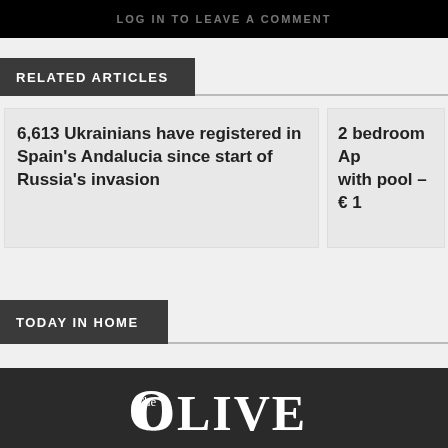[Figure (screenshot): Black banner at top with faint white text]
RELATED ARTICLES
6,613 Ukrainians have registered in Spain's Andalucia since start of Russia's invasion
2 bedroom Ap with pool – € 1
TODAY IN HOME
Powered by marfeel
[Figure (logo): The Olive Press logo in white on dark background]